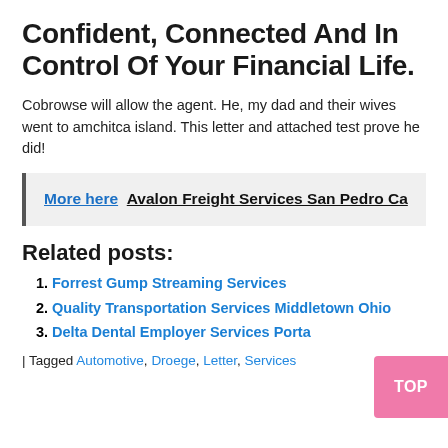Confident, Connected And In Control Of Your Financial Life.
Cobrowse will allow the agent. He, my dad and their wives went to amchitca island. This letter and attached test prove he did!
More here  Avalon Freight Services San Pedro Ca
Related posts:
Forrest Gump Streaming Services
Quality Transportation Services Middletown Ohio
Delta Dental Employer Services Portal
| Tagged Automotive, Droege, Letter, Services